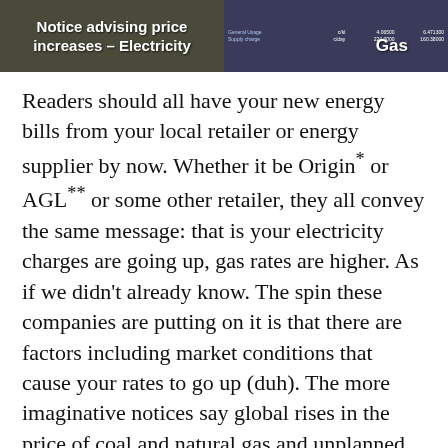[Figure (photo): Two side-by-side images: left is a dark olive/brown background with white bold text reading 'Notice advising price increases – Electricity'; right is a dark blue background showing a partial gas bill table with 'Gas' label in white text.]
Readers should all have your new energy bills from your local retailer or energy supplier by now. Whether it be Origin* or AGL** or some other retailer, they all convey the same message: that is your electricity charges are going up, gas rates are higher. As if we didn't already know. The spin these companies are putting on it is that there are factors including market conditions that cause your rates to go up (duh). The more imaginative notices say global rises in the price of coal and natural gas and unplanned power plant outages have had a big impact. I'm sure they have. Some even refer to international conflict. This is all spin and underlines